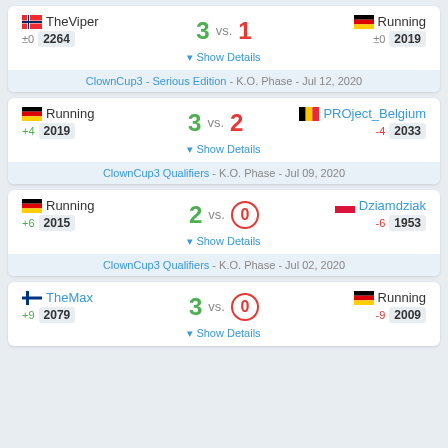TheViper ±0 2264 3 vs. 1 Running ±0 2019 — ClownCup3 - Serious Edition - K.O. Phase - Jul 12, 2020
Running +4 2019 3 vs. 2 PROject_Belgium -4 2033 — ClownCup3 Qualifiers - K.O. Phase - Jul 09, 2020
Running +6 2015 2 vs. 0 Dziamdziak -6 1953 — ClownCup3 Qualifiers - K.O. Phase - Jul 02, 2020
TheMax +9 2079 3 vs. 0 Running -9 2009